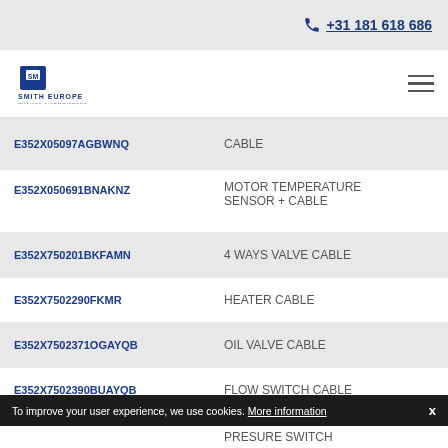+31 181 618 686
[Figure (logo): Smith Europe logo with shield emblem and text SMITH EUROPE QUALITY & COMMITMENT]
| Code | Description |
| --- | --- |
| E352X05097AGBWNQ | CABLE |
| E352X050691BNAKNZ | MOTOR TEMPERATURE SENSOR + CABLE |
| E352X750201BKFAMN | 4 WAYS VALVE CABLE |
| E352X7502290FKMR | HEATER CABLE |
| E352X7502371OGAYQB | OIL VALVE CABLE |
| E352X7502390BUAYQB | FLOW SWITCH CABLE |
|  | PRESURE SWITCH |
To improve your user experience, we use cookies. More information